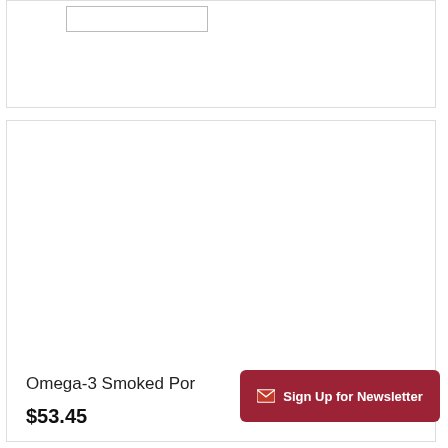[Figure (photo): A smoked pork ham, cross-sectioned, showing dark reddish-brown smoked exterior and pink-purple interior meat with white marbling, on white background.]
Omega-3 Smoked Por
$53.45
Sign Up for Newsletter